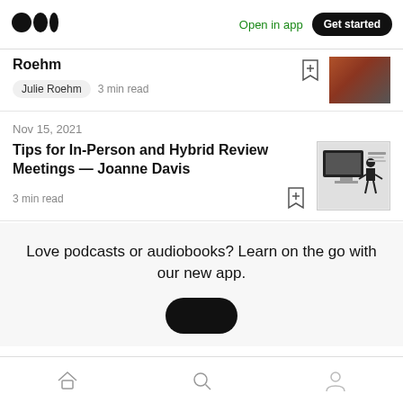Open in app | Get started
Roehm
Julie Roehm  3 min read
Nov 15, 2021
Tips for In-Person and Hybrid Review Meetings — Joanne Davis
3 min read
Love podcasts or audiobooks? Learn on the go with our new app.
Home | Search | Profile